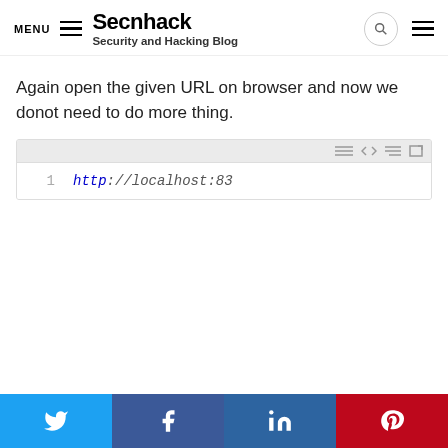MENU  Secnhack  Security and Hacking Blog
Again open the given URL on browser and now we donot need to do more thing.
[Figure (screenshot): Code block showing: http://localhost:83]
Twitter, Facebook, LinkedIn, Pinterest social share buttons